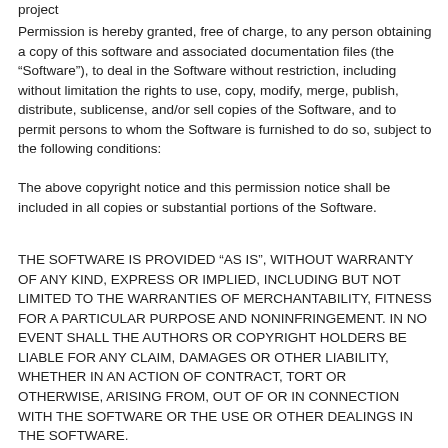project
Permission is hereby granted, free of charge, to any person obtaining a copy of this software and associated documentation files (the “Software”), to deal in the Software without restriction, including without limitation the rights to use, copy, modify, merge, publish, distribute, sublicense, and/or sell copies of the Software, and to permit persons to whom the Software is furnished to do so, subject to the following conditions:
The above copyright notice and this permission notice shall be included in all copies or substantial portions of the Software.
THE SOFTWARE IS PROVIDED “AS IS”, WITHOUT WARRANTY OF ANY KIND, EXPRESS OR IMPLIED, INCLUDING BUT NOT LIMITED TO THE WARRANTIES OF MERCHANTABILITY, FITNESS FOR A PARTICULAR PURPOSE AND NONINFRINGEMENT. IN NO EVENT SHALL THE AUTHORS OR COPYRIGHT HOLDERS BE LIABLE FOR ANY CLAIM, DAMAGES OR OTHER LIABILITY, WHETHER IN AN ACTION OF CONTRACT, TORT OR OTHERWISE, ARISING FROM, OUT OF OR IN CONNECTION WITH THE SOFTWARE OR THE USE OR OTHER DEALINGS IN THE SOFTWARE.